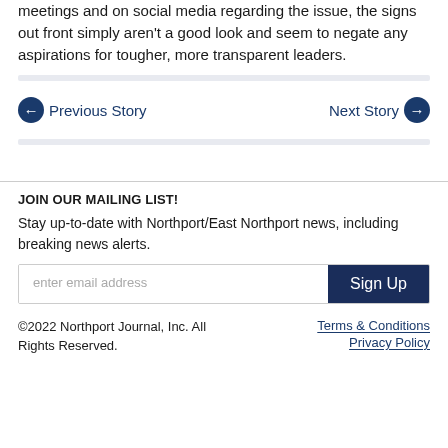meetings and on social media regarding the issue, the signs out front simply aren't a good look and seem to negate any aspirations for tougher, more transparent leaders.
← Previous Story
Next Story →
JOIN OUR MAILING LIST!
Stay up-to-date with Northport/East Northport news, including breaking news alerts.
enter email address
Sign Up
©2022 Northport Journal, Inc. All Rights Reserved.
Terms & Conditions
Privacy Policy